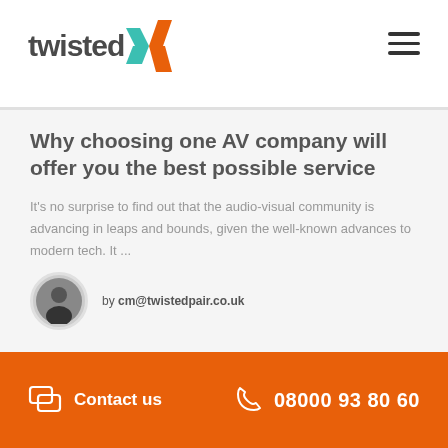[Figure (logo): Twisted Pair AV company logo with orange and teal X mark]
Why choosing one AV company will offer you the best possible service
It's no surprise to find out that the audio-visual community is advancing in leaps and bounds, given the well-known advances to modern tech. It ...
by cm@twistedpair.co.uk
Contact us  08000 93 80 60